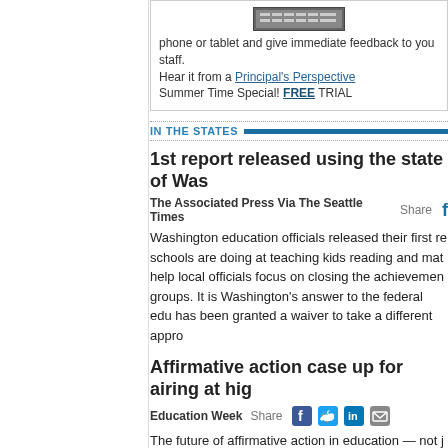[Figure (screenshot): Calculator device image at top of ad box]
phone or tablet and give immediate feedback to your staff.
Hear it from a Principal's Perspective
Summer Time Special! FREE TRIAL
IN THE STATES
1st report released using the state of Was...
The Associated Press Via The Seattle Times   Share
Washington education officials released their first re... schools are doing at teaching kids reading and mat... help local officials focus on closing the achievemen... groups. It is Washington's answer to the federal edu... has been granted a waiver to take a different appro...
Affirmative action case up for airing at hig...
Education Week   Share
The future of affirmative action in education — not j... may be on the line when the U.S. Supreme Court ta... University of Texas next month. That seems appare... behind the university with friend-of-the-court briefs ... recognize the need for racial diversity in the nation'...
ASSOCIATION NEWS